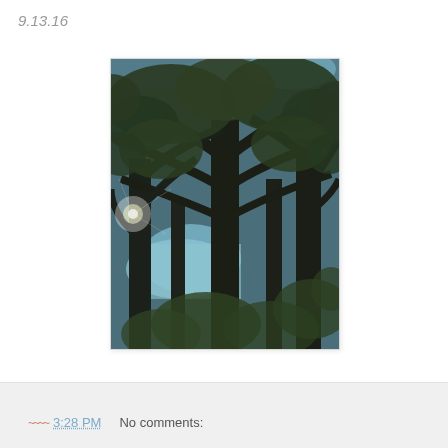9.13.16
[Figure (photo): Upward-looking photograph of large trees with green leafy canopy against a partly cloudy blue sky. Thick dark trunks and branches spread across the frame. Sunlight visible through the leaves on the left side.]
~~~~ 3:28 PM    No comments: